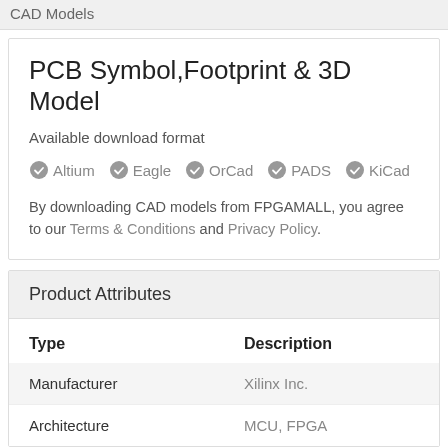CAD Models
PCB Symbol,Footprint & 3D Model
Available download format
Altium  Eagle  OrCad  PADS  KiCad
By downloading CAD models from FPGAMALL, you agree to our Terms & Conditions and Privacy Policy.
Product Attributes
| Type | Description |
| --- | --- |
| Manufacturer | Xilinx Inc. |
| Architecture | MCU, FPGA |